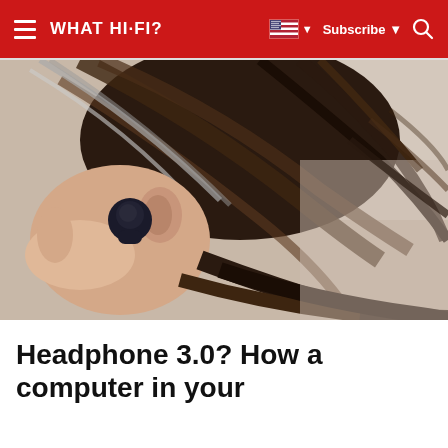WHAT HI-FI? — Subscribe — Navigation
[Figure (photo): Close-up photo of a person inserting a small black true wireless earbud into their ear, with dark curly hair visible against a light background.]
Headphone 3.0? How a computer in your